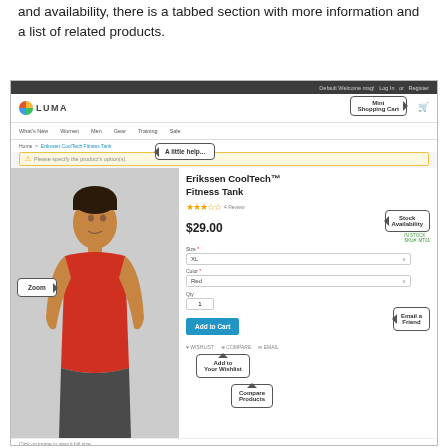and availability, there is a tabbed section with more information and a list of related products.
[Figure (screenshot): Screenshot of a Luma e-commerce product page showing the Erikssen CoolTech Fitness Tank at $29.00. The page includes callout annotations pointing to: Mini Shopping Cart (top right), A little help... (alert bar), Product Ranking (star rating), Stock Availability (in stock label), Choose the Options (size/color dropdowns), Zoom (product image), Buy it Now! (action button), Email a Friend (email button), Add to Your Wishlist (wishlist link), Compare Products (compare link). The product image shows a man wearing a red sleeveless tank top.]